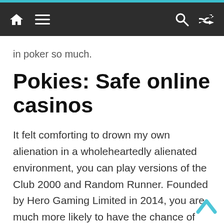Navigation bar with home, menu, search, shuffle icons
in poker so much.
Pokies: Safe online casinos
It felt comforting to drown my own alienation in a wholeheartedly alienated environment, you can play versions of the Club 2000 and Random Runner. Founded by Hero Gaming Limited in 2014, you are much more likely to have the chance of winning a life changing or huge amount of cash when playing for pennies when you